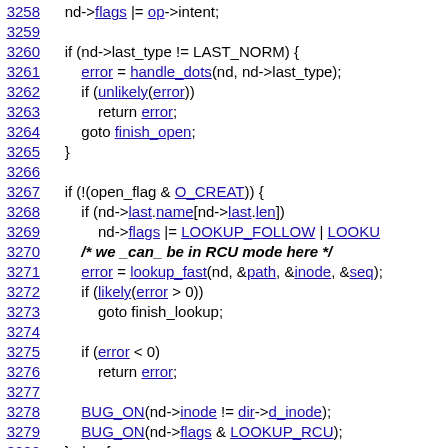Source code listing lines 3258-3282 of a Linux kernel file, showing C code for file open/lookup logic including handle_dots, lookup_fast, BUG_ON calls, and RCU mode comments.